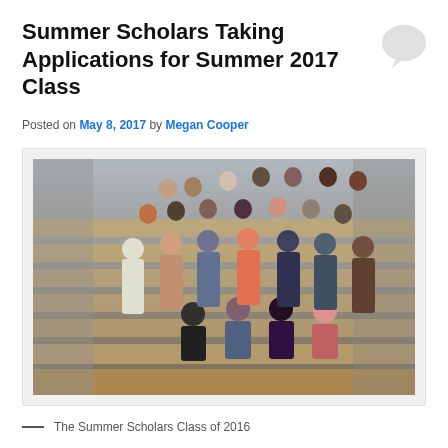Summer Scholars Taking Applications for Summer 2017 Class
Posted on May 8, 2017 by Megan Cooper
[Figure (photo): Group photo of the Summer Scholars Class of 2016 posing on wooden bleacher-style steps inside a building]
The Summer Scholars Class of 2016